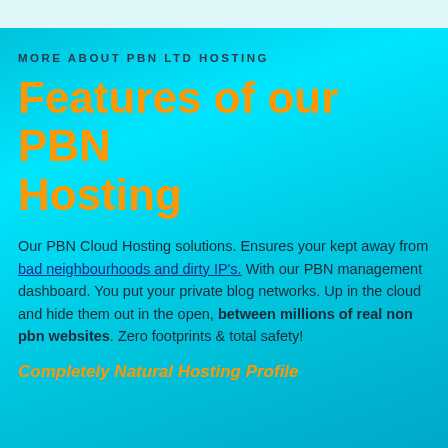MORE ABOUT PBN LTD HOSTING
Features of our PBN Hosting
Our PBN Cloud Hosting solutions. Ensures your kept away from bad neighbourhoods and dirty IP's. With our PBN management dashboard. You put your private blog networks. Up in the cloud and hide them out in the open, between millions of real non pbn websites. Zero footprints & total safety!
Completely Natural Hosting Profile